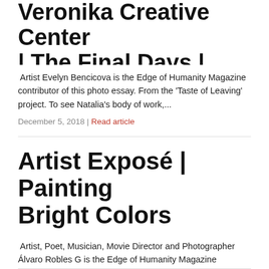...Veronika Creative Center | The Final Days | Bratislava
Artist Evelyn Bencicova is the Edge of Humanity Magazine contributor of this photo essay.  From the ‘Taste of Leaving’ project.  To see Natalia’s body of work,...
December 5, 2018 | Read article
Artist Exposé | Painting Bright Colors
Artist, Poet, Musician, Movie Director and Photographer Álvaro Robles G is the Edge of Humanity Magazine contributor of these images.  To see Álvaro’s body of...
March 28, 2018 | Read article